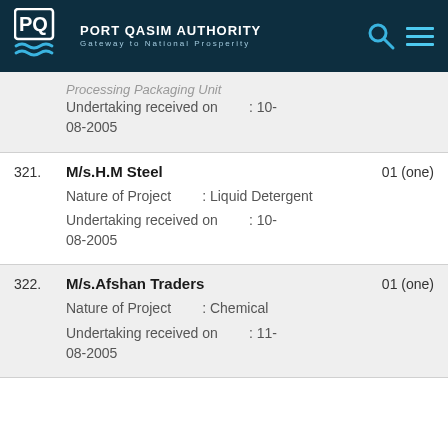PORT QASIM AUTHORITY - Gateway to National Prosperity
Processing Packaging Unit
Undertaking received on : 10-08-2005
321. M/s.H.M Steel  01 (one)
Nature of Project : Liquid Detergent
Undertaking received on : 10-08-2005
322. M/s.Afshan Traders  01 (one)
Nature of Project : Chemical
Undertaking received on : 11-08-2005